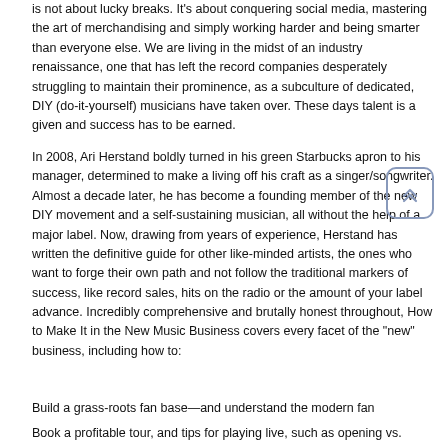is not about lucky breaks. It's about conquering social media, mastering the art of merchandising and simply working harder and being smarter than everyone else. We are living in the midst of an industry renaissance, one that has left the record companies desperately struggling to maintain their prominence, as a subculture of dedicated, DIY (do-it-yourself) musicians have taken over. These days talent is a given and success has to be earned.
In 2008, Ari Herstand boldly turned in his green Starbucks apron to his manager, determined to make a living off his craft as a singer/songwriter. Almost a decade later, he has become a founding member of the new DIY movement and a self-sustaining musician, all without the help of a major label. Now, drawing from years of experience, Herstand has written the definitive guide for other like-minded artists, the ones who want to forge their own path and not follow the traditional markers of success, like record sales, hits on the radio or the amount of your label advance. Incredibly comprehensive and brutally honest throughout, How to Make It in the New Music Business covers every facet of the "new" business, including how to:
Build a grass-roots fan base—and understand the modern fan
Book a profitable tour, and tips for playing live, such as opening vs.